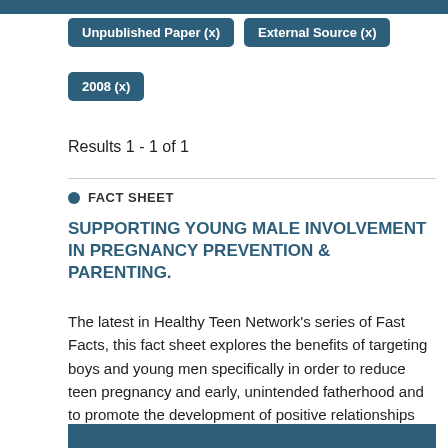Unpublished Paper (x)
External Source (x)
2008 (x)
Results 1 - 1 of 1
FACT SHEET
SUPPORTING YOUNG MALE INVOLVEMENT IN PREGNANCY PREVENTION & PARENTING.
The latest in Healthy Teen Network's series of Fast Facts, this fact sheet explores the benefits of targeting boys and young men specifically in order to reduce teen pregnancy and early, unintended fatherhood and to promote the development of positive relationships between young fathers and their children. (Author abstract)